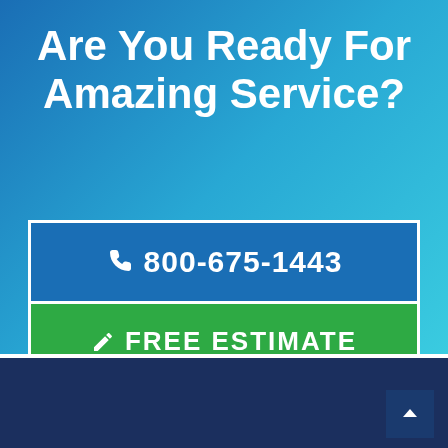Are You Ready For Amazing Service?
800-675-1443
FREE ESTIMATE